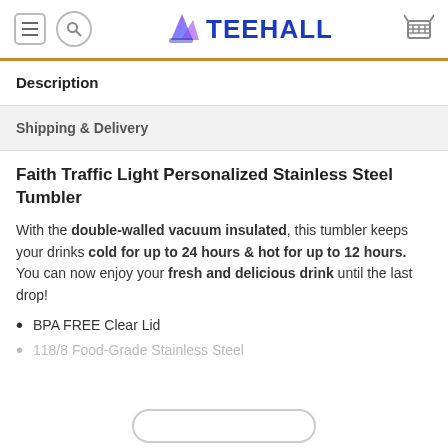TEEHALL
Description
Shipping & Delivery
Faith Traffic Light Personalized Stainless Steel Tumbler
With the double-walled vacuum insulated, this tumbler keeps your drinks cold for up to 24 hours & hot for up to 12 hours. You can now enjoy your fresh and delicious drink until the last drop!
BPA FREE Clear Lid
118/8 Food-Grade Stainless Steel